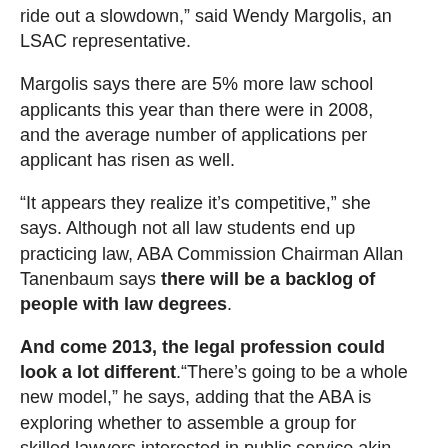ride out a slowdown,” said Wendy Margolis, an LSAC representative.
Margolis says there are 5% more law school applicants this year than there were in 2008, and the average number of applications per applicant has risen as well.
“It appears they realize it’s competitive,” she says. Although not all law students end up practicing law, ABA Commission Chairman Allan Tanenbaum says there will be a backlog of people with law degrees.
And come 2013, the legal profession could look a lot different.“There’s going to be a whole new model,” he says, adding that the ABA is exploring whether to assemble a group for skilled lawyers interested in public service akin to Teach for America or AmeriCorps.“Challenging times force people to think a little bit outside the box,” he says.
Visit our website to learn more about lawyer website marketing and how law firm SEO can set you apart.